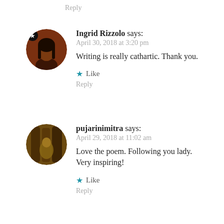Reply
Ingrid Rizzolo says:
April 30, 2018 at 3:20 pm
Writing is really cathartic. Thank you.
Like
Reply
pujarinimitra says:
April 29, 2018 at 11:02 am
Love the poem. Following you lady.
Very inspiring!
Like
Reply